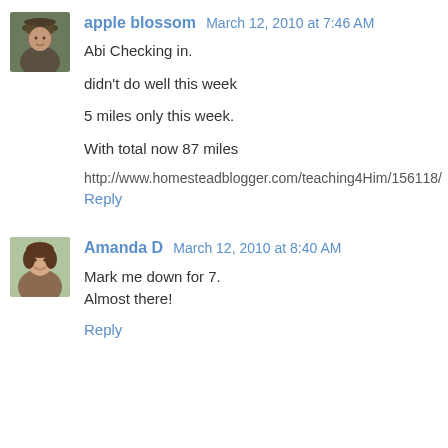[Figure (photo): Avatar photo of apple blossom user, person wearing a hat outdoors]
apple blossom March 12, 2010 at 7:46 AM
Abi Checking in.

didn't do well this week

5 miles only this week.

With total now 87 miles
http://www.homesteadblogger.com/teaching4Him/156118/
Reply
[Figure (photo): Avatar photo of Amanda D user, woman smiling]
Amanda D March 12, 2010 at 8:40 AM
Mark me down for 7.
Almost there!
Reply